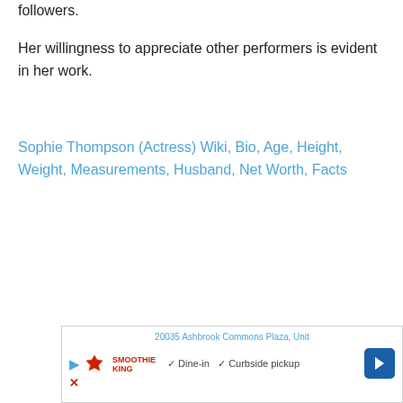followers.
Her willingness to appreciate other performers is evident in her work.
Sophie Thompson (Actress) Wiki, Bio, Age, Height, Weight, Measurements, Husband, Net Worth, Facts
[Figure (screenshot): Advertisement banner showing 20035 Ashbrook Commons Plaza, Unit address, Smoothie King logo, play button, X close button, dine-in and curbside pickup checkmarks, and a blue navigation arrow icon]